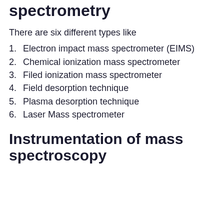spectrometry
There are six different types like
Electron impact mass spectrometer (EIMS)
Chemical ionization mass spectrometer
Filed ionization mass spectrometer
Field desorption technique
Plasma desorption technique
Laser Mass spectrometer
Instrumentation of mass spectroscopy